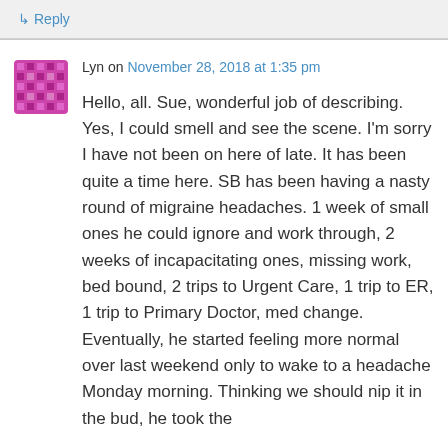↳ Reply
Lyn on November 28, 2018 at 1:35 pm
Hello, all. Sue, wonderful job of describing. Yes, I could smell and see the scene. I'm sorry I have not been on here of late. It has been quite a time here. SB has been having a nasty round of migraine headaches. 1 week of small ones he could ignore and work through, 2 weeks of incapacitating ones, missing work, bed bound, 2 trips to Urgent Care, 1 trip to ER, 1 trip to Primary Doctor, med change. Eventually, he started feeling more normal over last weekend only to wake to a headache Monday morning. Thinking we should nip it in the bud, he took the